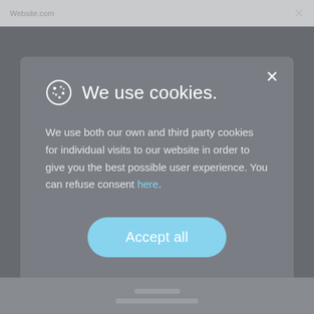Website URL [browser bar with close X]
We use cookies.
We use both our own and third party cookies for individual visits to our website in order to give you the best possible user experience. You can refuse consent here.
[Figure (other): Accept all button — rounded pill-shaped light blue button with white text]